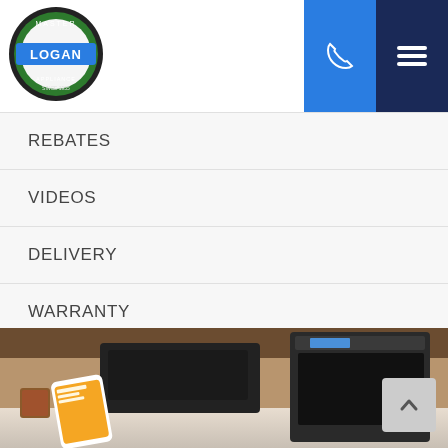[Figure (logo): Logan Master Appliance circular logo with blue banner reading LOGAN]
REBATES
VIDEOS
DELIVERY
WARRANTY
REVIEWS (79)
[Figure (photo): Kitchen scene with a person holding a smartphone, microwave and oven in background]